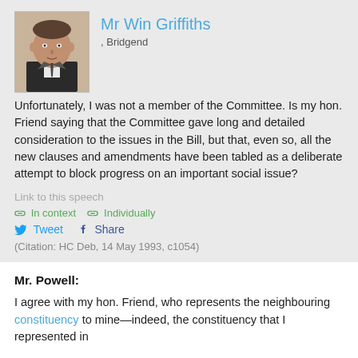Mr Win Griffiths
, Bridgend
Unfortunately, I was not a member of the Committee. Is my hon. Friend saying that the Committee gave long and detailed consideration to the issues in the Bill, but that, even so, all the new clauses and amendments have been tabled as a deliberate attempt to block progress on an important social issue?
Link to this speech
In context   Individually
Tweet  Share
(Citation: HC Deb, 14 May 1993, c1054)
Mr. Powell:
I agree with my hon. Friend, who represents the neighbouring constituency to mine—indeed, the constituency that I represented in 1993, I am glad that he does so, that appointed his hon. chairman again.